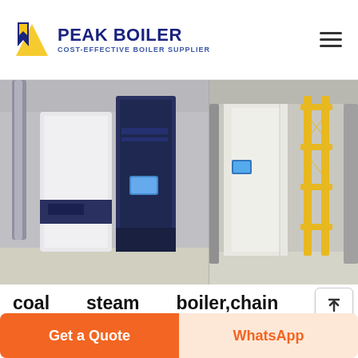PEAK BOILER - COST-EFFECTIVE BOILER SUPPLIER
[Figure (photo): Industrial boiler units in an installation facility. Left side shows white and dark blue boiler cabinet units. Right side shows yellow scaffolding/framework structure in a bright industrial building.]
coal steam boiler,chain grate co... boiler,coal hot water boiler-Henan Yuan...
DZL Chain grate coal fired boiler, single drum water-fire tube boilers, automatic-feeding coal system, easy operation, strong steam power. Boiler has a long using life more than 25Years. C...
Get a Quote
WhatsApp